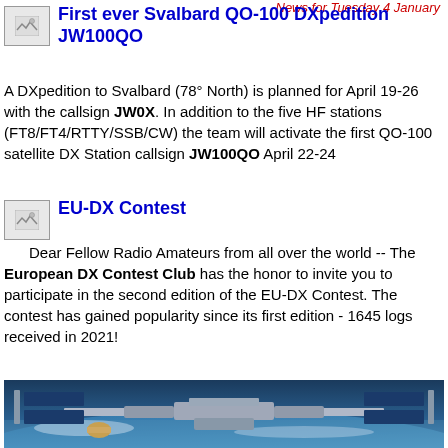News for Tuesday 4 January
First ever Svalbard QO-100 DXpedition JW100QO
A DXpedition to Svalbard (78° North) is planned for April 19-26 with the callsign JW0X. In addition to the five HF stations (FT8/FT4/RTTY/SSB/CW) the team will activate the first QO-100 satellite DX Station callsign JW100QO April 22-24
EU-DX Contest
Dear Fellow Radio Amateurs from all over the world -- The European DX Contest Club has the honor to invite you to participate in the second edition of the EU-DX Contest. The contest has gained popularity since its first edition - 1645 logs received in 2021!
[Figure (photo): Aerial photo of the International Space Station (ISS) in orbit above Earth, showing solar panels and modules against a blue-white Earth background.]